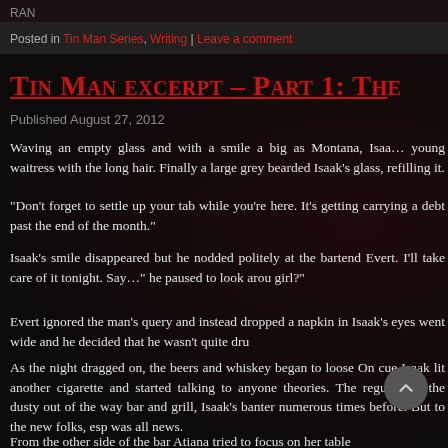RAN
Posted in Tin Man Series, Writing | Leave a comment
Tin Man excerpt – Part 1: Th…
Published August 27, 2012
Waving an empty glass and with a smile a big as Montana, Isaa… young waitress with the long hair. Finally a large grey bearded… Isaak's glass, refilling it.
“Don’t forget to settle up your tab while you’re here. It's getting… carrying a debt past the end of the month.”
Isaak’s smile disappeared but he nodded politely at the bartend… Evert. I’ll take care of it tonight. Say…” he paused to look arou… girl?”
Evert ignored the man’s query and instead dropped a napkin in… Isaak’s eyes went wide and he decided that he wasn’t quite dru…
As the night dragged on, the beers and whiskey began to loose… On cue Isaak lit another cigarette and started talking to anyone… theories. The regulars at the dusty out of the way bar and grill,… Isaak’s banter numerous times before. But to the new folks, esp… was all news.
From the other side of the bar Atiana tried to focus on her table…